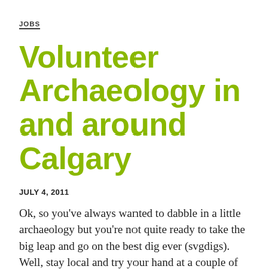JOBS
Volunteer Archaeology in and around Calgary
JULY 4, 2011
Ok, so you’ve always wanted to dabble in a little archaeology but you’re not quite ready to take the big leap and go on the best dig ever (svgdigs).  Well, stay local and try your hand at a couple of volunteer programs around Calgary. If